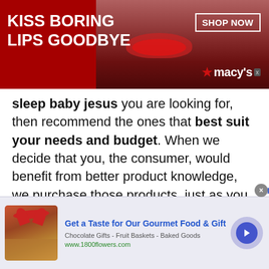[Figure (screenshot): Macy's advertisement banner: red background with woman's face, text 'KISS BORING LIPS GOODBYE', 'SHOP NOW' button, Macy's star logo]
sleep baby jesus you are looking for, then recommend the ones that best suit your needs and budget. When we decide that you, the consumer, would benefit from better product knowledge, we purchase those products, just as you would, and subject them to independent evaluation and testing.
If we can not earn your trust and guide you
[Figure (screenshot): 1800flowers.com advertisement: gift basket image, 'Get a Taste for Our Gourmet Food & Gift', 'Chocolate Gifts - Fruit Baskets - Baked Goods', www.1800flowers.com, blue arrow button]